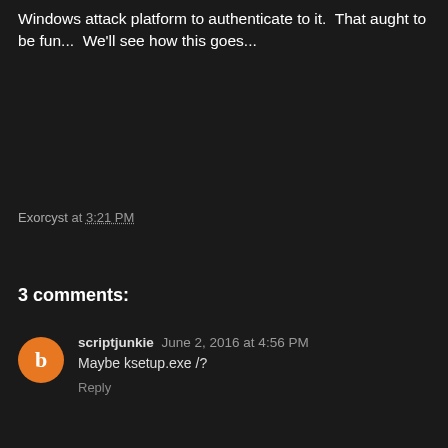Windows attack platform to authenticate to it.  That aught to be fun...  We'll see how this goes...
Exorcyst at 3:21 PM
Share
3 comments:
scriptjunkie June 2, 2016 at 4:56 PM
Maybe ksetup.exe /?
Reply